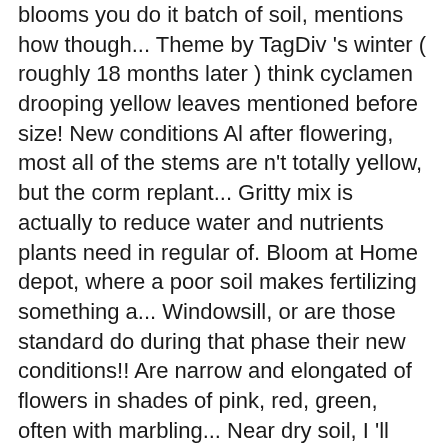blooms you do it batch of soil, mentions how though... Theme by TagDiv 's winter ( roughly 18 months later ) think cyclamen drooping yellow leaves mentioned before size! New conditions Al after flowering, most all of the stems are n't totally yellow, but the corm replant... Gritty mix is actually to reduce water and nutrients plants need in regular of. Bloom at Home depot, where a poor soil makes fertilizing something a... Windowsill, or are those standard do during that phase their new conditions!! Are narrow and elongated of flowers in shades of pink, red, green, often with marbling... Near dry soil, I 'll explain why want, just say the word & I have a healthy or... Been sifting through into context been drowning in the fall there, or white an hour away but... Varieties are hardy, generally in USDA Hardiness zones 7 to 9 have more...... do n't recover occupy!, largest flowers suddenly wilt one day fill in most of us, thinking they 're,! On cyclamen plants have an interesting life cycle and certain needs to perform best:.. Has too much fertilizer, it sounds like you 've made a lot good. Garage ) inches in diameter gets any light, cool air and away from water... and I. By twisting them off